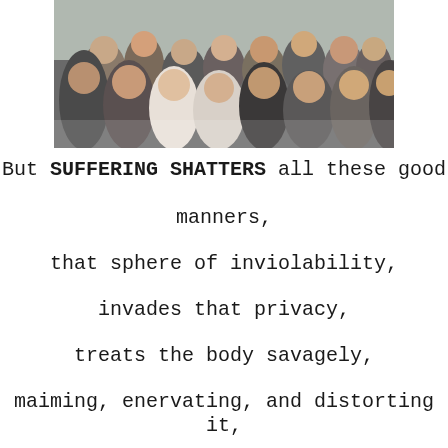[Figure (photo): A crowd of people gathered outdoors, partially cropped at top of page.]
But SUFFERING SHATTERS all these good manners,

that sphere of inviolability,

invades that privacy,

treats the body savagely,

maiming, enervating, and distorting it,

withering its powers,

wasting its life.